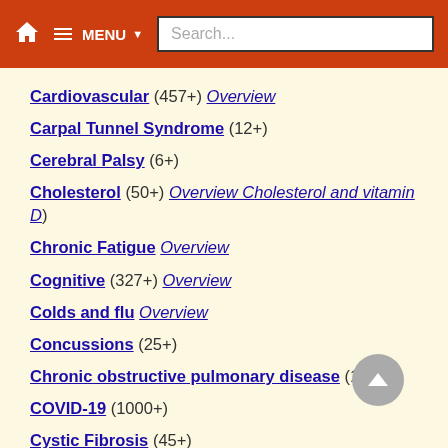MENU Search...
Cardiovascular (457+) Overview
Carpal Tunnel Syndrome (12+)
Cerebral Palsy (6+)
Cholesterol (50+) Overview Cholesterol and vitamin D)
Chronic Fatigue Overview
Cognitive (327+) Overview
Colds and flu Overview
Concussions (25+)
Chronic obstructive pulmonary disease (17+)
COVID-19 (1000+)
Cystic Fibrosis (45+)
Dental (96+)